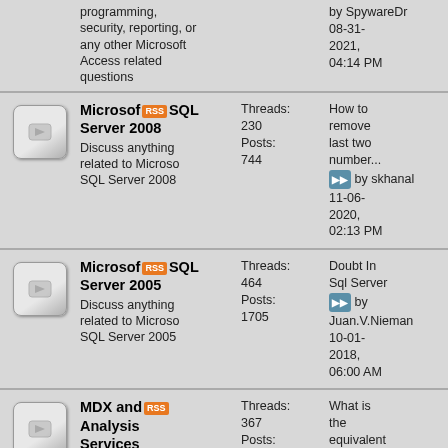programming, security, reporting, or any other Microsoft Access related questions
by SpywareDr 08-31-2021, 04:14 PM
Microsoft SQL Server 2008 - Threads: 230, Posts: 744 - Discuss anything related to Microsoft SQL Server 2008 - Last: How to remove last two number... by skhanal 11-06-2020, 02:13 PM
Microsoft SQL Server 2005 - Threads: 464, Posts: 1705 - Discuss anything related to Microsoft SQL Server 2005 - Last: Doubt In Sql Server by Juan.V.Nieman 10-01-2018, 06:00 AM
MDX and Analysis Services - Threads: 367, Posts: 816 - Discuss Microsoft SQL Server Analysis Services, Multidimensional Expressions (MDX), - Last: What is the equivalent MDX... by EylesIT 07-25-2022, 03:24 AM